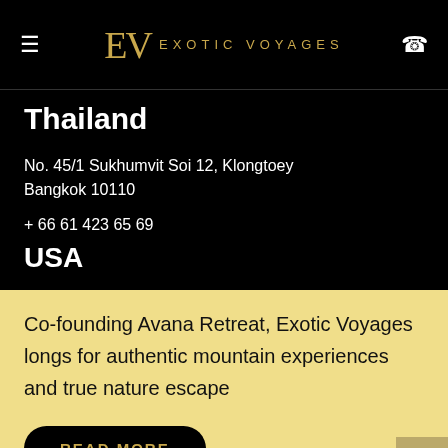EV EXOTIC VOYAGES
Thailand
No. 45/1 Sukhumvit Soi 12, Klongtoey
Bangkok 10110
+ 66 61 423 65 69
USA
Co-founding Avana Retreat, Exotic Voyages longs for authentic mountain experiences and true nature escape
READ MORE